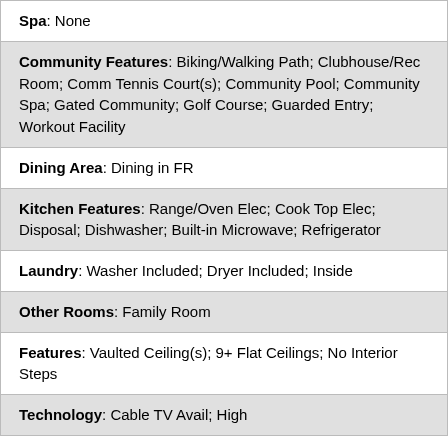Spa: None
Community Features: Biking/Walking Path; Clubhouse/Rec Room; Comm Tennis Court(s); Community Pool; Community Spa; Gated Community; Golf Course; Guarded Entry; Workout Facility
Dining Area: Dining in FR
Kitchen Features: Range/Oven Elec; Cook Top Elec; Disposal; Dishwasher; Built-in Microwave; Refrigerator
Laundry: Washer Included; Dryer Included; Inside
Other Rooms: Family Room
Features: Vaulted Ceiling(s); 9+ Flat Ceilings; No Interior Steps
Technology: Cable TV Avail; High